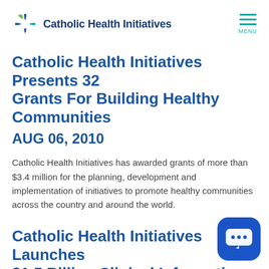Catholic Health Initiatives
Catholic Health Initiatives Presents 32 Grants For Building Healthy Communities
AUG 06, 2010
Catholic Health Initiatives has awarded grants of more than $3.4 million for the planning, development and implementation of initiatives to promote healthy communities across the country and around the world.
Catholic Health Initiatives Launches $1.5 Billion Clinical Information Technology Program